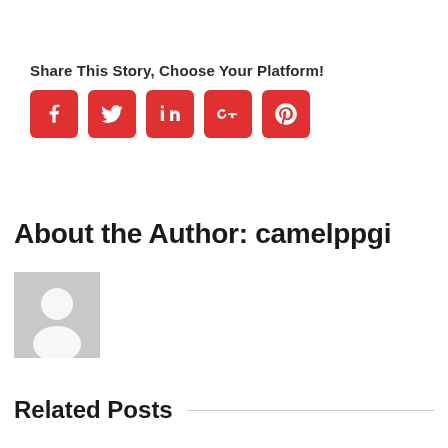Share This Story, Choose Your Platform!
[Figure (infographic): Five red rounded square social media share buttons: Facebook (f), Twitter (bird), LinkedIn (in), Google+ (G+), Pinterest (p)]
About the Author: camelppgi
[Figure (photo): Generic grey avatar/placeholder photo of a person silhouette]
Related Posts